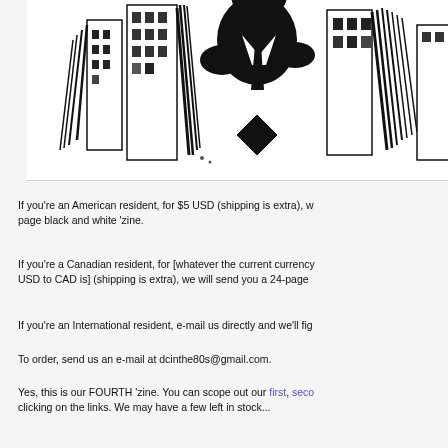[Figure (illustration): Black and white ink illustration of a person (appearing to wear a suit/tie) amid angular, sketchy city buildings with heavy crosshatching and bold black strokes]
If you're an American resident, for $5 USD (shipping is extra), we will send you a 24-page black and white 'zine.
If you're a Canadian resident, for [whatever the current currency conversion of $5 USD to CAD is] (shipping is extra), we will send you a 24-page black and white 'zine.
If you're an International resident, e-mail us directly and we'll fig...
To order, send us an e-mail at dcinthe80s@gmail.com.
Yes, this is our FOURTH 'zine. You can scope out our first, seco... clicking on the links. We may have a few left in stock...